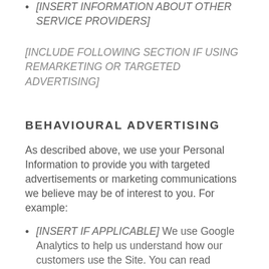[INSERT INFORMATION ABOUT OTHER SERVICE PROVIDERS]
[INCLUDE FOLLOWING SECTION IF USING REMARKETING OR TARGETED ADVERTISING]
BEHAVIOURAL ADVERTISING
As described above, we use your Personal Information to provide you with targeted advertisements or marketing communications we believe may be of interest to you. For example:
[INSERT IF APPLICABLE] We use Google Analytics to help us understand how our customers use the Site. You can read